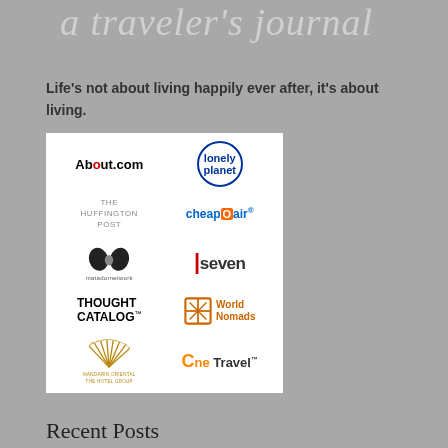a traveler's journal
Life's not about living happily ever after, it's about living.
[Figure (logo): Grid of travel brand logos: About.com, Lonely Planet, The Huffington Post, CheapOair, Matador Network, Seven, Thought Catalog, World Nomads, Mandarin Oriental The Hotel Group, OneTravel]
Recent Posts